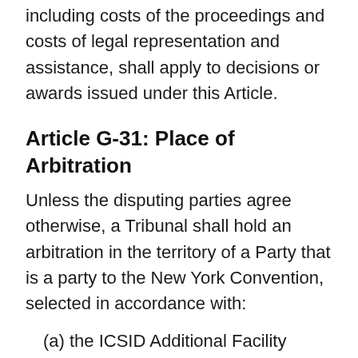including costs of the proceedings and costs of legal representation and assistance, shall apply to decisions or awards issued under this Article.
Article G-31: Place of Arbitration
Unless the disputing parties agree otherwise, a Tribunal shall hold an arbitration in the territory of a Party that is a party to the New York Convention, selected in accordance with:
(a) the ICSID Additional Facility Rules if the arbitration is under those Rules or the ICSID Convention; or